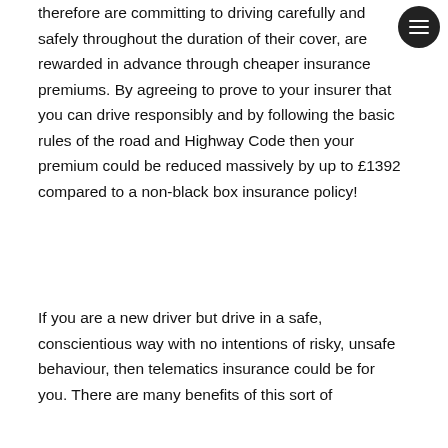therefore are committing to driving carefully and safely throughout the duration of their cover, are rewarded in advance through cheaper insurance premiums. By agreeing to prove to your insurer that you can drive responsibly and by following the basic rules of the road and Highway Code then your premium could be reduced massively by up to £1392 compared to a non-black box insurance policy!
If you are a new driver but drive in a safe, conscientious way with no intentions of risky, unsafe behaviour, then telematics insurance could be for you. There are many benefits of this sort of